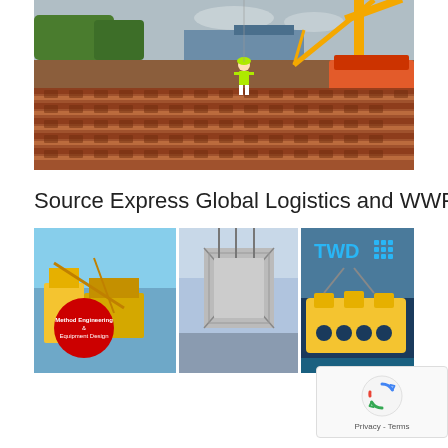[Figure (photo): Industrial photo of stacked steel rails/pipes at a logistics yard with a construction worker in safety vest and yellow crane/excavator in background, trees visible in upper left.]
Source Express Global Logistics and WWPC
[Figure (photo): Composite banner image of three heavy-lift / offshore engineering photos: left panel shows yellow heavy-lift equipment with red circle badge reading 'Method Engineering & Equipment Design', center shows large steel structure being lifted by cranes, right panel shows yellow subsea/offshore equipment with 'TWD' logo and grid icon in blue.]